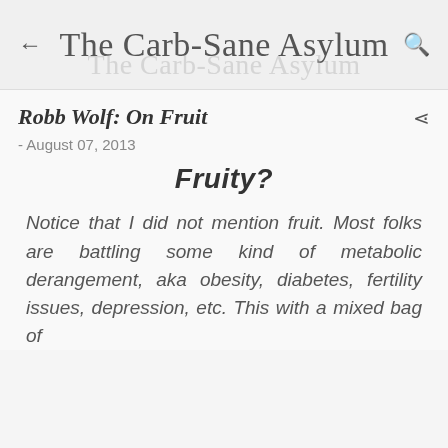The Carb-Sane Asylum
Robb Wolf: On Fruit
- August 07, 2013
Fruity?
Notice that I did not mention fruit. Most folks are battling some kind of metabolic derangement, aka obesity, diabetes, fertility issues, depression, etc. This with a mixed bag of